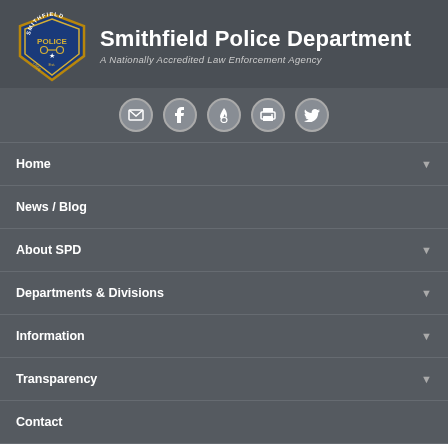[Figure (logo): Smithfield Police Department badge/shield logo in blue and gold]
Smithfield Police Department
A Nationally Accredited Law Enforcement Agency
[Figure (infographic): Social media icons: email, Facebook, fire/RSS, print, Twitter]
Home
News / Blog
About SPD
Departments & Divisions
Information
Transparency
Contact
How and when can I get fingerprinted for my job?